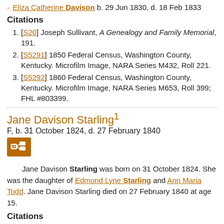Eliza Catherine Davison b. 29 Jun 1830, d. 18 Feb 1833
Citations
[S20] Joseph Sullivant, A Genealogy and Family Memorial, 191.
[S5291] 1850 Federal Census, Washington County, Kentucky. Microfilm Image, NARA Series M432, Roll 221.
[S5292] 1860 Federal Census, Washington County, Kentucky. Microfilm Image, NARA Series M653, Roll 399; FHL #803399.
Jane Davison Starling
F, b. 31 October 1824, d. 27 February 1840
Jane Davison Starling was born on 31 October 1824. She was the daughter of Edmund Lyne Starling and Ann Maria Todd. Jane Davison Starling died on 27 February 1840 at age 15.
Citations
[S20] Joseph Sullivant, A Genealogy and Family Memorial, 73.